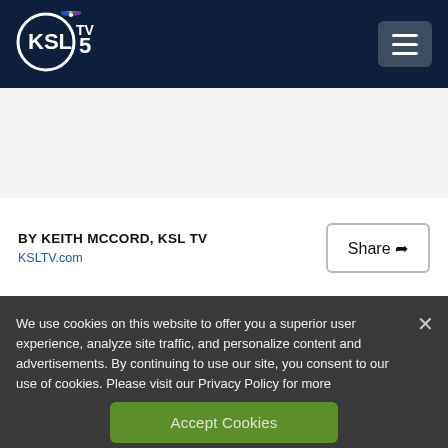[Figure (logo): KSL TV 5 NBC logo with NBC peacock feather icon, white circle with KSL text and TV 5 label]
BY KEITH MCCORD, KSL TV
KSLTV.com
Share
We use cookies on this website to offer you a superior user experience, analyze site traffic, and personalize content and advertisements. By continuing to use our site, you consent to our use of cookies. Please visit our Privacy Policy for more information.
Accept Cookies